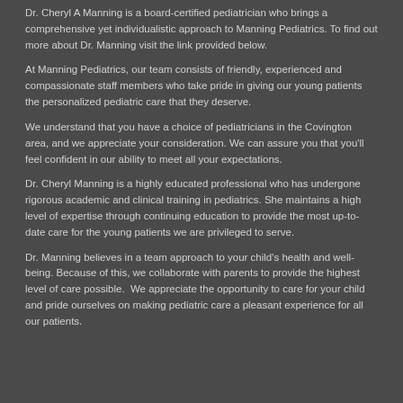Dr. Cheryl A Manning is a board-certified pediatrician who brings a comprehensive yet individualistic approach to Manning Pediatrics. To find out more about Dr. Manning visit the link provided below.
At Manning Pediatrics, our team consists of friendly, experienced and compassionate staff members who take pride in giving our young patients the personalized pediatric care that they deserve.
We understand that you have a choice of pediatricians in the Covington area, and we appreciate your consideration. We can assure you that you'll feel confident in our ability to meet all your expectations.
Dr. Cheryl Manning is a highly educated professional who has undergone rigorous academic and clinical training in pediatrics. She maintains a high level of expertise through continuing education to provide the most up-to-date care for the young patients we are privileged to serve.
Dr. Manning believes in a team approach to your child's health and well-being. Because of this, we collaborate with parents to provide the highest level of care possible.  We appreciate the opportunity to care for your child and pride ourselves on making pediatric care a pleasant experience for all our patients.